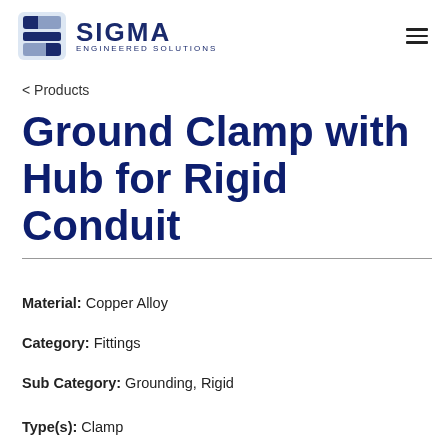[Figure (logo): Sigma Engineered Solutions logo with stylized S icon and company name]
< Products
Ground Clamp with Hub for Rigid Conduit
Material: Copper Alloy
Category: Fittings
Sub Category: Grounding, Rigid
Type(s): Clamp